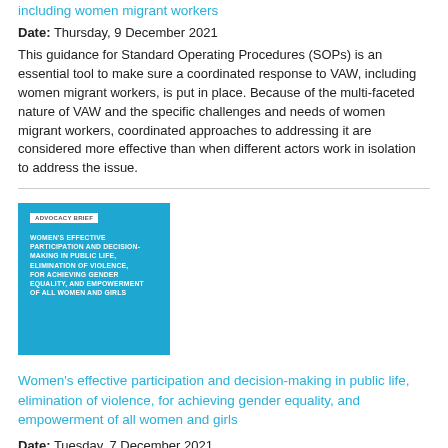including women migrant workers
Date: Thursday, 9 December 2021
This guidance for Standard Operating Procedures (SOPs) is an essential tool to make sure a coordinated response to VAW, including women migrant workers, is put in place. Because of the multi-faceted nature of VAW and the specific challenges and needs of women migrant workers, coordinated approaches to addressing it are considered more effective than when different actors work in isolation to address the issue.
[Figure (illustration): Blue cover image of an advocacy brief titled: WOMEN'S EFFECTIVE PARTICIPATION AND DECISION-MAKING IN PUBLIC LIFE, ELIMINATION OF VIOLENCE, FOR ACHIEVING GENDER EQUALITY, AND EMPOWERMENT OF ALL WOMEN AND GIRLS]
Women's effective participation and decision-making in public life, elimination of violence, for achieving gender equality, and empowerment of all women and girls
Date: Tuesday, 7 December 2021
The general seat MPs act as the electorate, but there is effectively